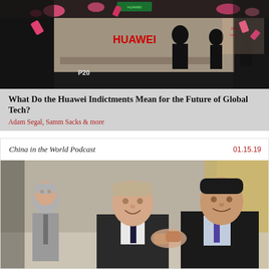[Figure (photo): Interior of a Huawei store with pink decorations, product displays, and silhouettes of customers. P20 signage visible.]
What Do the Huawei Indictments Mean for the Future of Global Tech?
Adam Segal, Samm Sacks & more
China in the World Podcast
01.15.19
[Figure (photo): Two men in suits shaking hands and smiling, with a third man visible in the background to the left. Meeting room setting with curtains.]